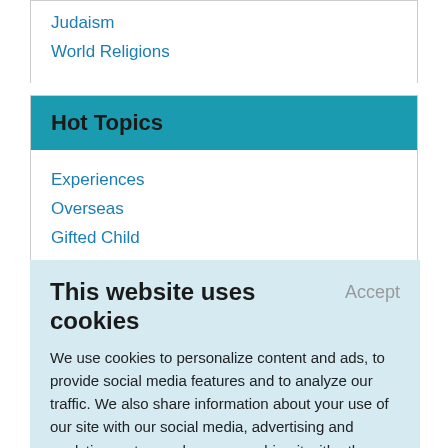Judaism
World Religions
Hot Topics
Experiences
Overseas
Gifted Child
This website uses cookies
We use cookies to personalize content and ads, to provide social media features and to analyze our traffic. We also share information about your use of our site with our social media, advertising and analytics partners who may combine it with other information that you've provided to them or that they've collected from your use of their services.
Learn More.